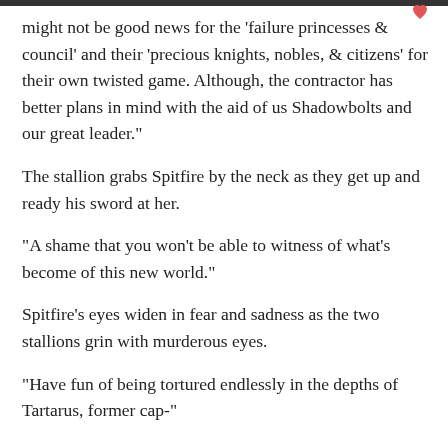might not be good news for the 'failure princesses & council' and their 'precious knights, nobles, & citizens' for their own twisted game. Although, the contractor has better plans in mind with the aid of us Shadowbolts and our great leader."
The stallion grabs Spitfire by the neck as they get up and ready his sword at her.
"A shame that you won't be able to witness of what's become of this new world."
Spitfire's eyes widen in fear and sadness as the two stallions grin with murderous eyes.
"Have fun of being tortured endlessly in the depths of Tartarus, former cap-"